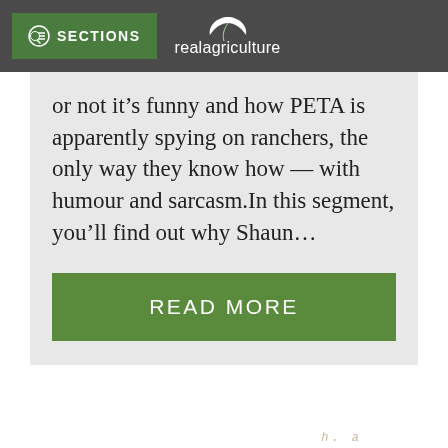SECTIONS | realagriculture
or not it's funny and how PETA is apparently spying on ranchers, the only way they know how — with humour and sarcasm.In this segment, you'll find out why Shaun…
READ MORE